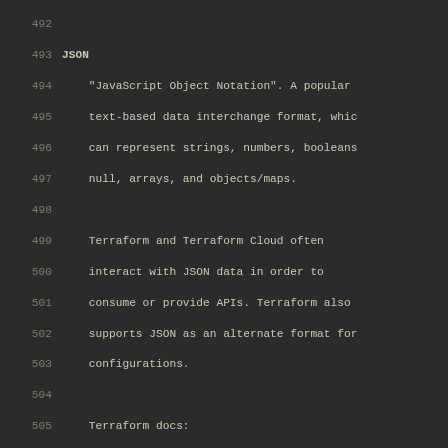Code listing lines 492-521 showing JSON and Locking glossary entries in a monospace code viewer